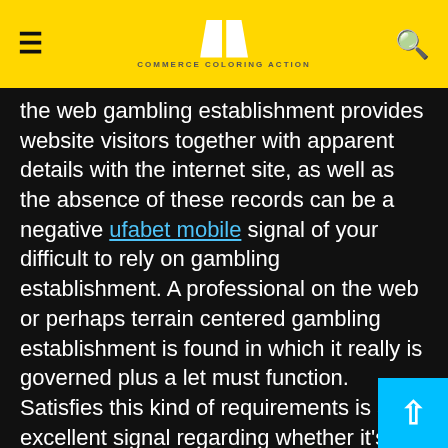COMMERCE COLORING ACTION
the web gambling establishment provides website visitors together with apparent details with the internet site, as well as the absence of these records can be a negative ufabet mobile signal of your difficult to rely on gambling establishment. A professional on the web or perhaps terrain centered gambling establishment is found in which it really is governed plus a let must function. Satisfies this kind of requirements is an excellent signal regarding whether it's any honest gambling establishment.
Top quality regarding Support
Even though the participants typically forget the support problem, you actually must look closely at offers about the games...